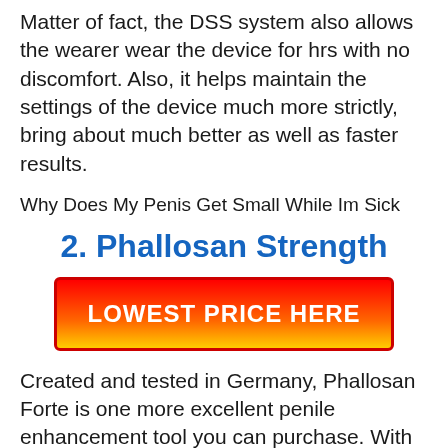Matter of fact, the DSS system also allows the wearer wear the device for hrs with no discomfort. Also, it helps maintain the settings of the device much more strictly, bring about much better as well as faster results.
Why Does My Penis Get Small While Im Sick
2. Phallosan Strength
[Figure (other): Red to yellow gradient button with text LOWEST PRICE HERE]
Created and tested in Germany, Phallosan Forte is one more excellent penile enhancement tool you can purchase. With this…